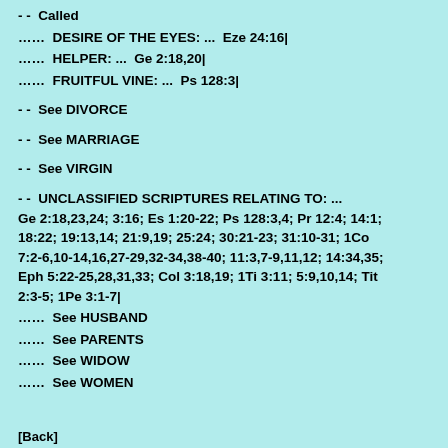- -  Called
......  DESIRE OF THE EYES: ...  Eze 24:16|
......  HELPER: ...  Ge 2:18,20|
......  FRUITFUL VINE: ...  Ps 128:3|
- -  See DIVORCE
- -  See MARRIAGE
- -  See VIRGIN
- -  UNCLASSIFIED SCRIPTURES RELATING TO: ... Ge 2:18,23,24; 3:16; Es 1:20-22; Ps 128:3,4; Pr 12:4; 14:1; 18:22; 19:13,14; 21:9,19; 25:24; 30:21-23; 31:10-31; 1Co 7:2-6,10-14,16,27-29,32-34,38-40; 11:3,7-9,11,12; 14:34,35; Eph 5:22-25,28,31,33; Col 3:18,19; 1Ti 3:11; 5:9,10,14; Tit 2:3-5; 1Pe 3:1-7|
......  See HUSBAND
......  See PARENTS
......  See WIDOW
......  See WOMEN
[Back]